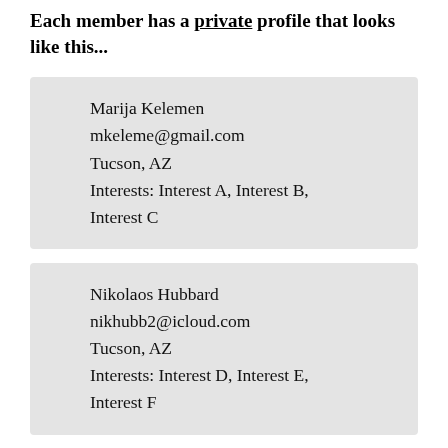Each member has a private profile that looks like this...
Marija Kelemen
mkeleme@gmail.com
Tucson, AZ
Interests: Interest A, Interest B, Interest C
Nikolaos Hubbard
nikhubb2@icloud.com
Tucson, AZ
Interests: Interest D, Interest E, Interest F